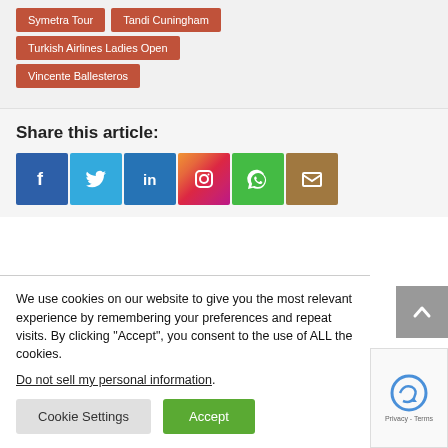Symetra Tour
Tandi Cuningham
Turkish Airlines Ladies Open
Vincente Ballesteros
Share this article:
[Figure (infographic): Social share icons: Facebook, Twitter, LinkedIn, Instagram, WhatsApp, Email]
We use cookies on our website to give you the most relevant experience by remembering your preferences and repeat visits. By clicking “Accept”, you consent to the use of ALL the cookies. Do not sell my personal information.
Cookie Settings | Accept